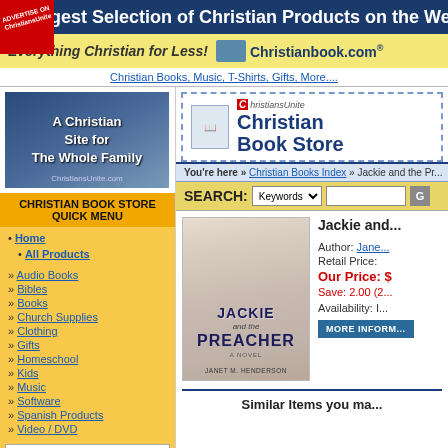[Figure (screenshot): ChristiansUnite advertise badge in red, rotated, top-left corner]
gest Selection of Christian Products on the Web
Everything Christian for Less! Christianbook.com
Christian Books, Music, T-Shirts, Gifts, More....
[Figure (logo): A Christian Site for The Whole Family - ChristiansUnite.com logo banner]
CHRISTIAN BOOK STORE QUICK MENU
• Home
• All Products
» Audio Books
» Bibles
» Books
» Church Supplies
» Clothing
» Gifts
» Homeschool
» Kids
» Music
» Software
» Spanish Products
» Video / DVD
Special Searches
[Figure (logo): ChristiansUnite Christian Book Store header logo with monk icon]
You're here » Christian Books Index » Jackie and the Pr...
SEARCH: Keywords [input field] G
[Figure (photo): Book cover: Jackie and the Preacher by Janet M. Henderson, showing bride in white dress]
Jackie and...
Author: Jane...
Retail Price:
Our Price: $
Save: 2.00 (2...
Availability: I...
MORE INFORM...
Similar Items you ma...